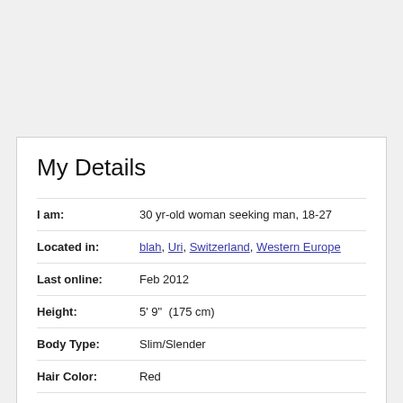My Details
I am:   30 yr-old woman seeking man, 18-27
Located in:   blah, Uri, Switzerland, Western Europe
Last online:   Feb 2012
Height:   5' 9"  (175 cm)
Body Type:   Slim/Slender
Hair Color:   Red
Eye Color:   Hazel
Ethnicity:   White/Caucasian
Education:   Bachelors Degree